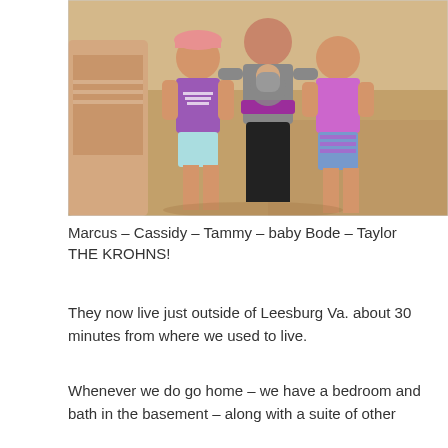[Figure (photo): A group photo of a family on a sandy beach. A woman in black capri pants and a pink top holds a baby, flanked by two young girls in purple tops and light shorts, and a man partially visible on the left.]
Marcus – Cassidy – Tammy – baby Bode – Taylor THE KROHNS!
They now live just outside of Leesburg Va. about 30 minutes from where we used to live.
Whenever we do go home – we have a bedroom and bath in the basement – along with a suite of other